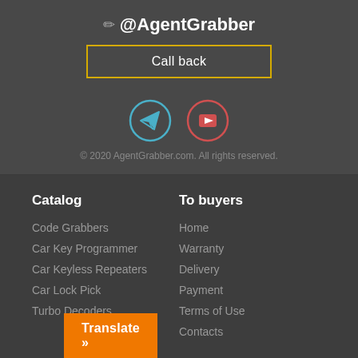@AgentGrabber
Call back
[Figure (illustration): Telegram icon (blue circle with paper plane) and YouTube icon (red circle with play button)]
© 2020 AgentGrabber.com. All rights reserved.
Catalog
To buyers
Code Grabbers
Car Key Programmer
Car Keyless Repeaters
Car Lock Pick
Turbo Decoders
Home
Warranty
Delivery
Payment
Terms of Use
Contacts
Translate »